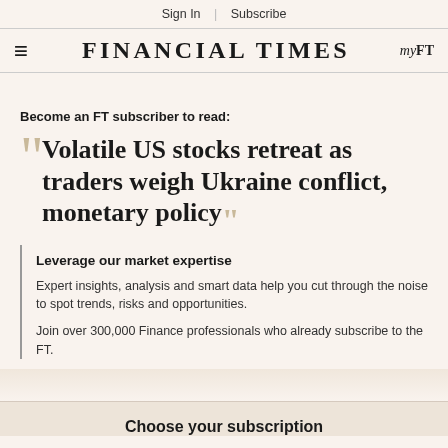Sign In  |  Subscribe
FINANCIAL TIMES  myFT
Become an FT subscriber to read:
Volatile US stocks retreat as traders weigh Ukraine conflict, monetary policy
Leverage our market expertise
Expert insights, analysis and smart data help you cut through the noise to spot trends, risks and opportunities.
Join over 300,000 Finance professionals who already subscribe to the FT.
Choose your subscription